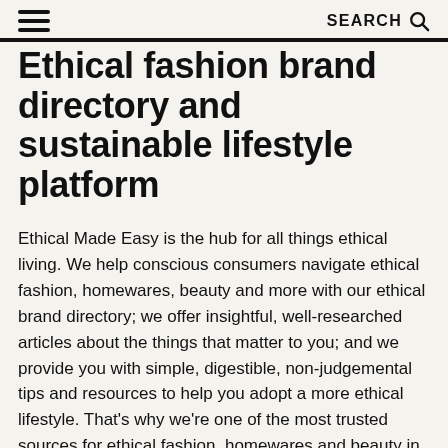≡  SEARCH 🔍
Ethical fashion brand directory and sustainable lifestyle platform
Ethical Made Easy is the hub for all things ethical living. We help conscious consumers navigate ethical fashion, homewares, beauty and more with our ethical brand directory; we offer insightful, well-researched articles about the things that matter to you; and we provide you with simple, digestible, non-judgemental tips and resources to help you adopt a more ethical lifestyle. That's why we're one of the most trusted sources for ethical fashion, homewares and beauty in Australia, New Zealand and the rest of the world. Here you'll find resources and articles that will teach you about plastic waste, living wages, garment workers, cost per wear, sustainable fashion, ethical production, natural dye, artisan workers, vegan leather, natural materials, fibres, the circular economy, sewing, op-shopping, and the list goes on and on. Our brand directory makes it easier for you to find ethical alternatives in a range of different categories from womenswear, menswear and childrenswear